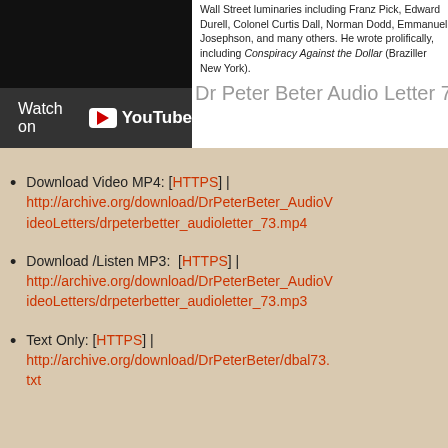Wall Street luminaries including Franz Pick, Edward Durell, Colonel Curtis Dall, Norman Dodd, Emmanuel Josephson, and many others. He wrote prolifically, including Conspiracy Against the Dollar (Braziller New York).
[Figure (screenshot): YouTube video embed showing 'Watch on YouTube' button over a dark background with partial title 'Dr Peter Beter Audio Letter 7']
Download Video MP4: [HTTPS] | http://archive.org/download/DrPeterBeter_AudioVideoLetters/drpeterbetter_audioletter_73.mp4
Download /Listen MP3: [HTTPS] | http://archive.org/download/DrPeterBeter_AudioVideoLetters/drpeterbetter_audioletter_73.mp3
Text Only: [HTTPS] | http://archive.org/download/DrPeterBeter/dbal73.txt